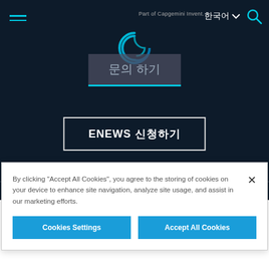[Figure (screenshot): Dark navy website header with hamburger menu icon in cyan, Capgemini Invent logo (C swirl), Korean language selector, search icon, Korean contact button, and ENEWS signup button]
By clicking “Accept All Cookies”, you agree to the storing of cookies on your device to enhance site navigation, analyze site usage, and assist in our marketing efforts.
Cookies Settings
Accept All Cookies